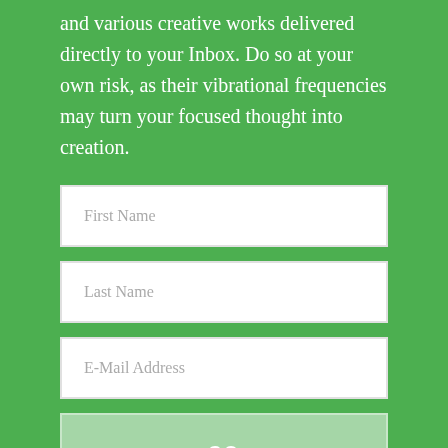and various creative works delivered directly to your Inbox. Do so at your own risk, as their vibrational frequencies may turn your focused thought into creation.
First Name
Last Name
E-Mail Address
GO